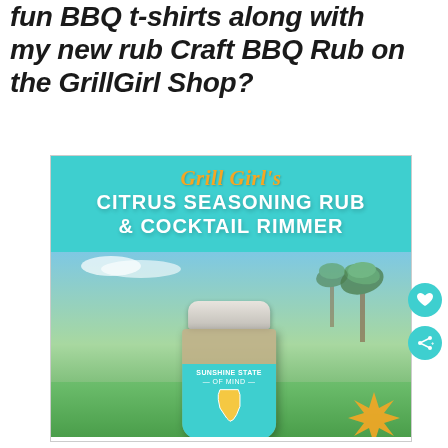fun BBQ t-shirts along with my new rub Craft BBQ Rub on the GrillGirl Shop?
[Figure (photo): Product photo card for Grill Girl's Citrus Seasoning Rub & Cocktail Rimmer showing a spice jar with teal label reading 'Sunshine State of Mind', set against a green lawn and palm trees background. Card has teal header with orange script 'Grill Girl's' and white bold text 'CITRUS SEASONING RUB & COCKTAIL RIMMER'.]